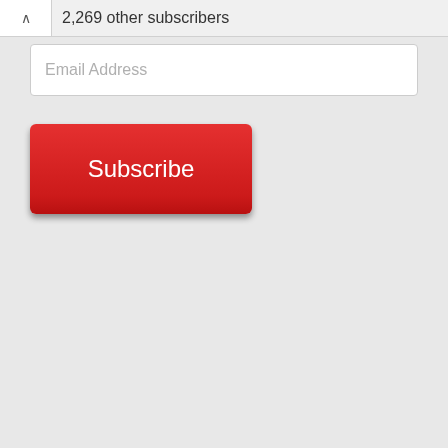2,269 other subscribers
Email Address
Subscribe